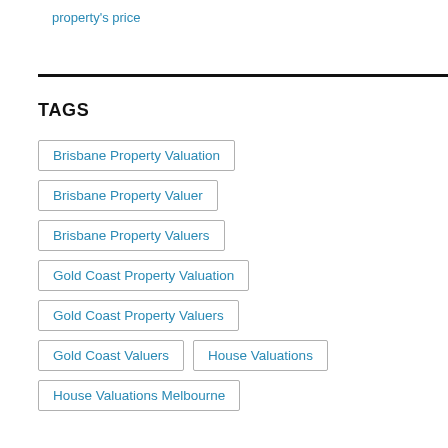property's price
TAGS
Brisbane Property Valuation
Brisbane Property Valuer
Brisbane Property Valuers
Gold Coast Property Valuation
Gold Coast Property Valuers
Gold Coast Valuers
House Valuations
House Valuations Melbourne